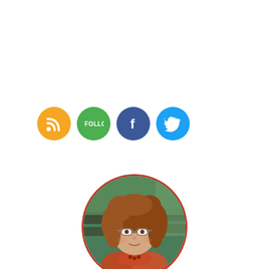[Figure (infographic): Four social media icon buttons in a row: RSS (orange), Follow (green), Facebook (dark blue), Twitter (light blue)]
[Figure (photo): Circular profile photo of Deborah Jones, a woman with curly reddish-brown hair wearing glasses and an orange/red scarf, outdoors with a blurred green background]
Deborah Jones